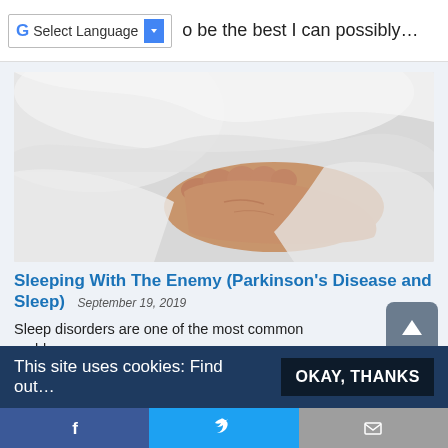Select Language  o be the best I can possibly…
[Figure (photo): Close-up photo of a human foot peeking out from under white bed sheets/blankets, suggesting sleep]
Sleeping With The Enemy (Parkinson's Disease and Sleep)  September 19, 2019
Sleep disorders are one of the most common problems experienced by people with Parkin…
This site uses cookies: Find out…
OKAY, THANKS